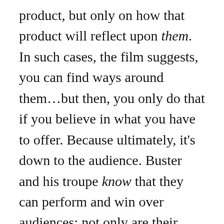product, but only on how that product will reflect upon them. In such cases, the film suggests, you can find ways around them...but then, you only do that if you believe in what you have to offer. Because ultimately, it’s down to the audience. Buster and his troupe know that they can perform and win over audiences: not only are their shows sold out at home, but on their journey to the city the manage to enthrall the whole bus merely by their rehearsal. They